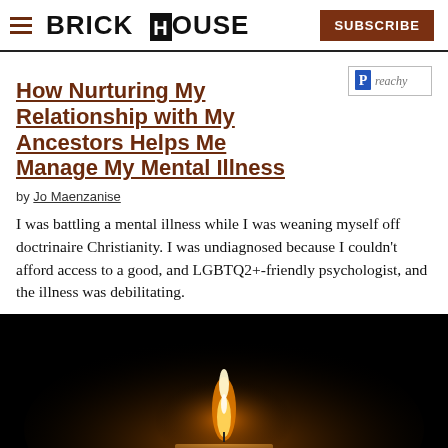BRICK HOUSE | SUBSCRIBE
How Nurturing My Relationship with My Ancestors Helps Me Manage My Mental Illness
[Figure (logo): Preachy logo badge with blue P icon and italic text]
by Jo Maenzanise
I was battling a mental illness while I was weaning myself off doctrinaire Christianity. I was undiagnosed because I couldn't afford access to a good, and LGBTQ2+-friendly psychologist, and the illness was debilitating.
[Figure (photo): Close-up photo of a lit candle flame against a dark black background, with warm orange and yellow glow illuminating the candle wax below]